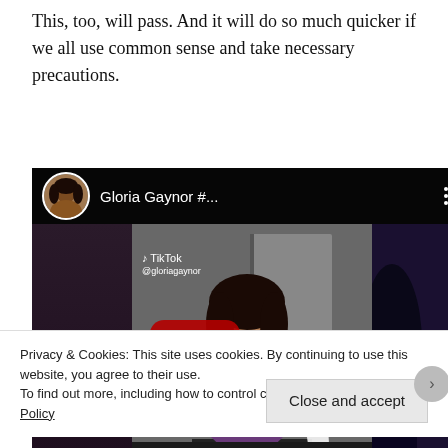This, too, will pass. And it will do so much quicker if we all use common sense and take necessary precautions.
[Figure (screenshot): YouTube embedded video thumbnail showing Gloria Gaynor TikTok video with play button overlay. Dark scene with person in purple top at a counter. TikTok watermark visible. YouTube top bar with avatar, title 'Gloria Gaynor #...', and three-dot menu.]
Privacy & Cookies: This site uses cookies. By continuing to use this website, you agree to their use.
To find out more, including how to control cookies, see here: Cookie Policy
Close and accept